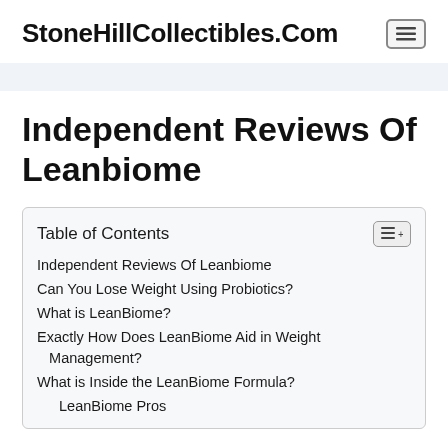StoneHillCollectibles.Com
Independent Reviews Of Leanbiome
| Table of Contents |
| --- |
| Independent Reviews Of Leanbiome |
| Can You Lose Weight Using Probiotics? |
| What is LeanBiome? |
| Exactly How Does LeanBiome Aid in Weight Management? |
| What is Inside the LeanBiome Formula? |
| LeanBiome Pros |